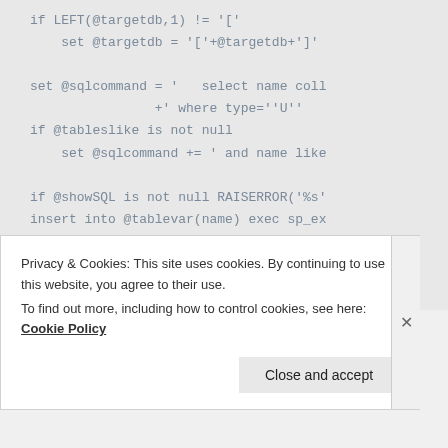if LEFT(@targetdb,1) != '['
    set @targetdb = '['+@targetdb+']'

set @sqlcommand = '   select name coll
                +' where type=''U'' 
if @tableslike is not null
    set @sqlcommand += ' and name like

if @showSQL is not null RAISERROR('%s'
insert into @tablevar(name) exec sp_ex
Privacy & Cookies: This site uses cookies. By continuing to use this website, you agree to their use.
To find out more, including how to control cookies, see here: Cookie Policy